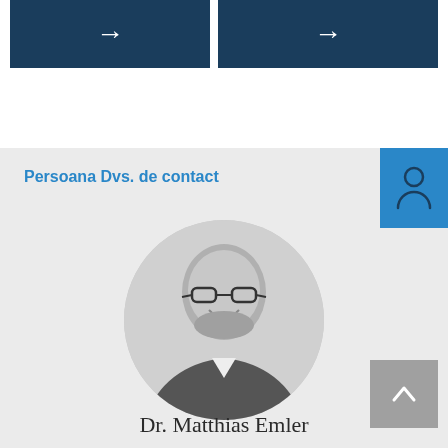[Figure (illustration): Two dark navy blue navigation buttons with white right-arrow icons side by side at the top of the page]
[Figure (illustration): Blue box icon with a person silhouette outline in the top-right of the gray contact section]
Persoana Dvs. de contact
[Figure (photo): Black and white portrait photo of Dr. Matthias Emler, a man with glasses and a beard, smiling, wearing a suit]
Dr. Matthias Emler
[Figure (illustration): Gray button with white upward arrow icon in bottom-right corner]